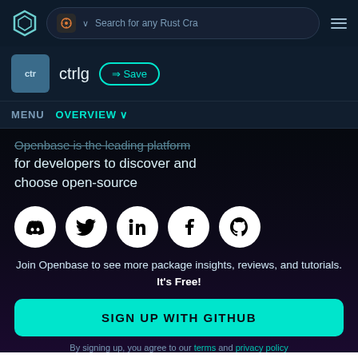[Figure (screenshot): Top navigation bar with Openbase logo (shield icon), Rust crate search dropdown with Rust logo, search input placeholder 'Search for any Rust Cra', and hamburger menu icon]
[Figure (screenshot): Crate header showing teal-blue 'ctr' icon box, 'ctrlg' crate name, and teal '+ Save' button with outline style]
MENU  OVERVIEW v
Openbase is the leading platform for developers to discover and choose open-source
[Figure (illustration): Row of 5 circular social media icons (white on white circle): Discord, Twitter, LinkedIn, Facebook, GitHub]
Join Openbase to see more package insights, reviews, and tutorials. It's Free!
SIGN UP WITH GITHUB
By signing up, you agree to our terms and privacy policy